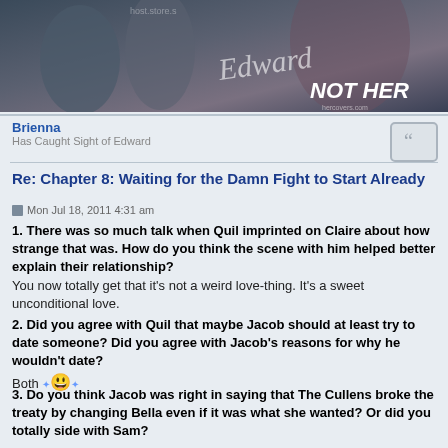[Figure (photo): Banner image showing a dark movie-style photo with text 'NOT HER' and a signature, with hercovers.com watermark]
Brienna
Has Caught Sight of Edward
Re: Chapter 8: Waiting for the Damn Fight to Start Already
Mon Jul 18, 2011 4:31 am
1. There was so much talk when Quil imprinted on Claire about how strange that was. How do you think the scene with him helped better explain their relationship?
You now totally get that it's not a weird love-thing. It's a sweet unconditional love.
2. Did you agree with Quil that maybe Jacob should at least try to date someone? Did you agree with Jacob's reasons for why he wouldn't date?
Both 😄
3. Do you think Jacob was right in saying that The Cullens broke the treaty by changing Bella even if it was what she wanted? Or did you totally side with Sam?